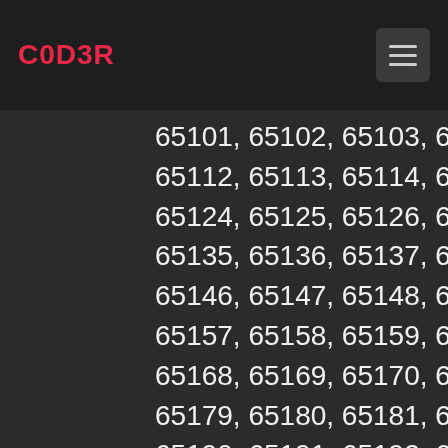C0D3R
65101, 65102, 65103, 65104, 65105, 65106, 65107, 65112, 65113, 65114, 65115, 65116, 65117, 65118, 6511 65124, 65125, 65126, 65127, 65128, 65129, 65130, 65135, 65136, 65137, 65138, 65139, 65140, 65141, 65146, 65147, 65148, 65149, 65150, 65151, 65152, 65157, 65158, 65159, 65160, 65161, 65162, 65163, 65168, 65169, 65170, 65171, 65172, 65173, 65174, 65179, 65180, 65181, 65182, 65183, 65184, 65185, 65190, 65191, 65192, 65193, 65194, 65195, 65196, 65201, 65202, 65203, 65204, 65205, 65206, 6520 65212, 65213, 65214, 65215, 65216, 65217, 65218, 65223, 65224, 65225, 65226, 65227, 65228, 6522 65234, 65235, 65236, 65237, 65238, 65239, 6524 65245, 65246, 65247, 65248, 65249, 65250, 6525 65256, 65257, 65258, 65259, 65260, 65261, 6526 65267, 65268, 65269, 65270, 65271, 65272, 65277